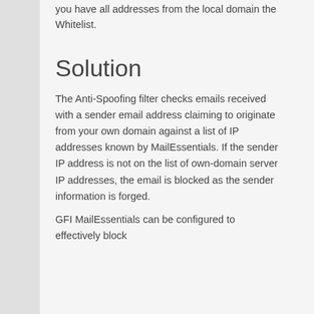you have all addresses from the local domain the Whitelist.
Solution
The Anti-Spoofing filter checks emails received with a sender email address claiming to originate from your own domain against a list of IP addresses known by MailEssentials. If the sender IP address is not on the list of own-domain server IP addresses, the email is blocked as the sender information is forged.
GFI MailEssentials can be configured to effectively block